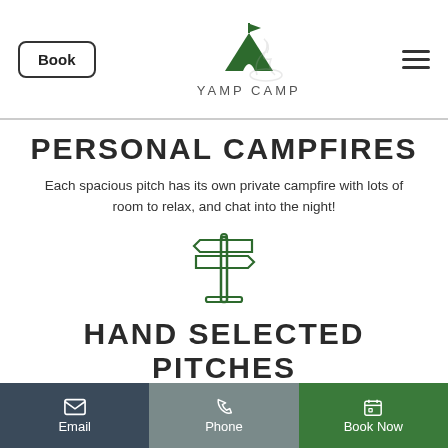Book  YAMP CAMP  [menu]
PERSONAL CAMPFIRES
Each spacious pitch has its own private campfire with lots of room to relax, and chat into the night!
[Figure (illustration): Green outline icon of a signpost with two directional arrows pointing left and right on a pole with a base]
HAND SELECTED PITCHES
We pre-allocate pitches and place all our guests by hand to make sure everyone is
Email  Phone  Book Now